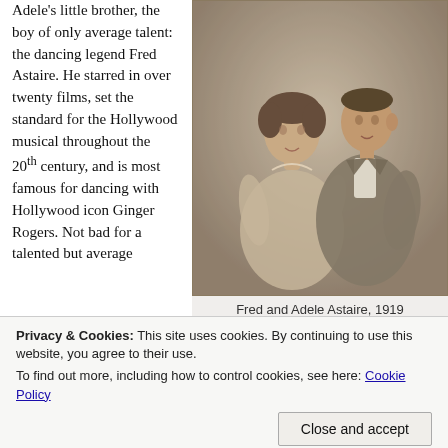Adele's little brother, the boy of only average talent: the dancing legend Fred Astaire. He starred in over twenty films, set the standard for the Hollywood musical throughout the 20th century, and is most famous for dancing with Hollywood icon Ginger Rogers. Not bad for a talented but average
[Figure (photo): Sepia-toned vintage photograph of Fred and Adele Astaire, 1919. A young woman and young man posed together, the woman leaning against the man.]
Fred and Adele Astaire, 1919
Privacy & Cookies: This site uses cookies. By continuing to use this website, you agree to their use. To find out more, including how to control cookies, see here: Cookie Policy
Close and accept
post). But how many of you had heard of Adele Astaire before now?